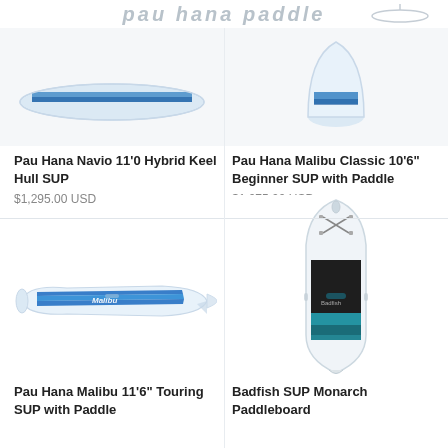pau hana paddle
Pau Hana Navio 11'0 Hybrid Keel Hull SUP
$1,295.00 USD
Pau Hana Malibu Classic 10'6" Beginner SUP with Paddle
$1,075.00 USD
[Figure (photo): Pau Hana Malibu 11'6" Touring SUP with Paddle - white and blue paddleboard shown horizontally]
Pau Hana Malibu 11'6" Touring SUP with Paddle
[Figure (photo): Badfish SUP Monarch Paddleboard - inflatable SUP shown vertically with black and teal design]
Badfish SUP Monarch Paddleboard